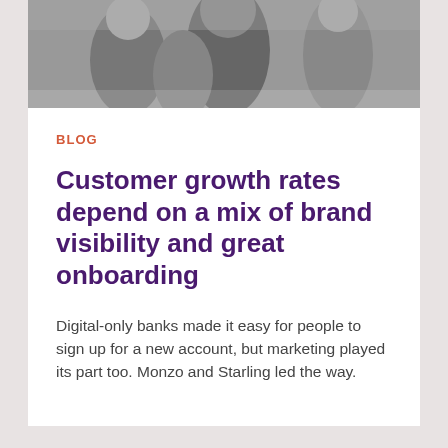[Figure (photo): Black and white photo showing people outdoors, partially cropped at top of page]
BLOG
Customer growth rates depend on a mix of brand visibility and great onboarding
Digital-only banks made it easy for people to sign up for a new account, but marketing played its part too. Monzo and Starling led the way.